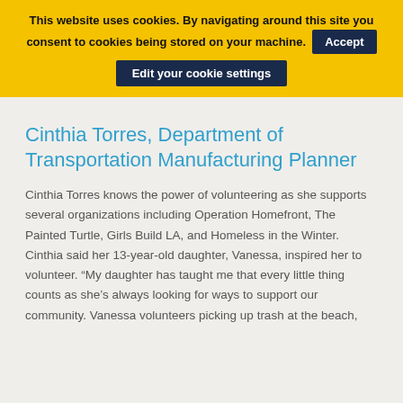This website uses cookies. By navigating around this site you consent to cookies being stored on your machine. Accept Edit your cookie settings
Cinthia Torres, Department of Transportation Manufacturing Planner
Cinthia Torres knows the power of volunteering as she supports several organizations including Operation Homefront, The Painted Turtle, Girls Build LA, and Homeless in the Winter. Cinthia said her 13-year-old daughter, Vanessa, inspired her to volunteer. “My daughter has taught me that every little thing counts as she’s always looking for ways to support our community. Vanessa volunteers picking up trash at the beach,